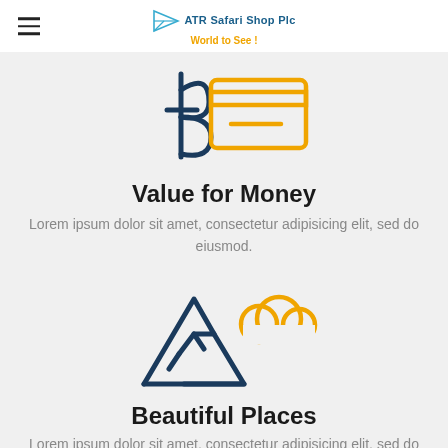ATR Safari Shop Plc World to See !
[Figure (illustration): Icon of a currency symbol (dollar/rupee) with an orange credit card outline]
Value for Money
Lorem ipsum dolor sit amet, consectetur adipisicing elit, sed do eiusmod.
[Figure (illustration): Icon of mountain peaks with an orange cloud, outline style in dark navy]
Beautiful Places
Lorem ipsum dolor sit amet, consectetur adipisicing elit, sed do